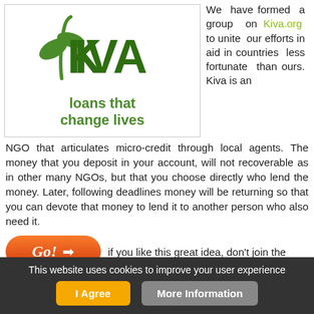[Figure (logo): Kiva logo with green leaf and text 'KIVA' and tagline 'loans that change lives']
We have formed a group on Kiva.org to unite our efforts in aid in countries less fortunate than ours. Kiva is an NGO that articulates micro-credit through local agents. The money that you deposit in your account, will not recoverable as in other many NGOs, but that you choose directly who lend the money. Later, following deadlines money will be returning so that you can devote that money to lend it to another person who also need it.
[Figure (illustration): Go! button with arrow icon]
if you like this great idea, don't join the Greenyway group in Kiva.
This website uses cookies to improve your user experience